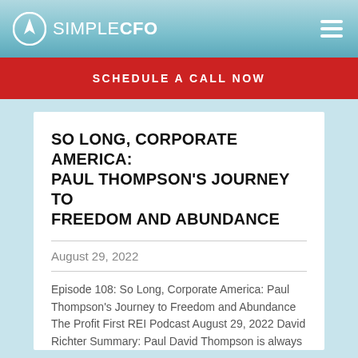SIMPLE CFO
SCHEDULE A CALL NOW
SO LONG, CORPORATE AMERICA: PAUL THOMPSON'S JOURNEY TO FREEDOM AND ABUNDANCE
August 29, 2022
Episode 108: So Long, Corporate America: Paul Thompson's Journey to Freedom and Abundance The Profit First REI Podcast August 29, 2022 David Richter Summary: Paul David Thompson is always on ...
Read More